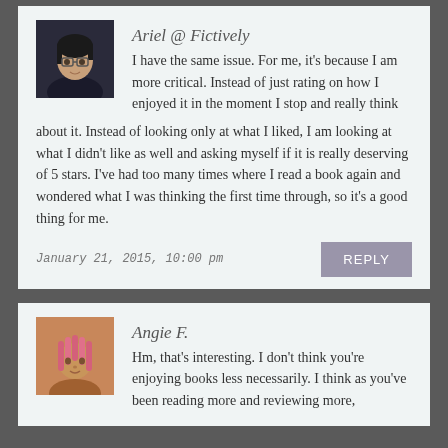Ariel @ Fictively
I have the same issue. For me, it's because I am more critical. Instead of just rating on how I enjoyed it in the moment I stop and really think about it. Instead of looking only at what I liked, I am looking at what I didn't like as well and asking myself if it is really deserving of 5 stars. I've had too many times where I read a book again and wondered what I was thinking the first time through, so it's a good thing for me.
January 21, 2015, 10:00 pm
Angie F.
Hm, that's interesting. I don't think you're enjoying books less necessarily. I think as you've been reading more and reviewing more,